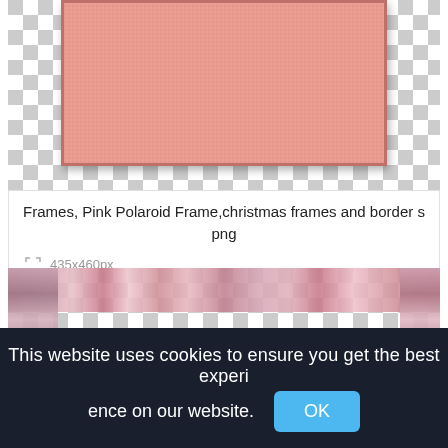[Figure (screenshot): Pink polaroid frame on a checkerboard transparency background]
Frames, Pink Polaroid Frame,christmas frames and borders png
435x460px
[Figure (screenshot): Floral border frame with pink flowers on checkerboard transparency background]
This website uses cookies to ensure you get the best experience on our website.